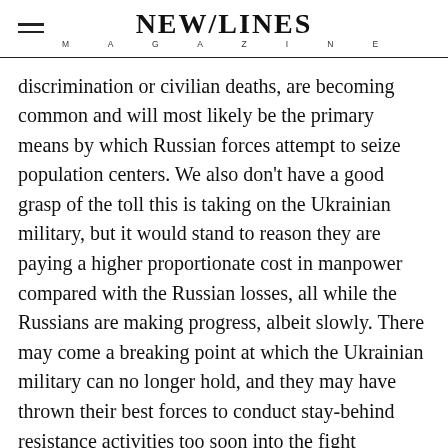NEW/LINES MAGAZINE
discrimination or civilian deaths, are becoming common and will most likely be the primary means by which Russian forces attempt to seize population centers. We also don't have a good grasp of the toll this is taking on the Ukrainian military, but it would stand to reason they are paying a higher proportionate cost in manpower compared with the Russian losses, all while the Russians are making progress, albeit slowly. There may come a breaking point at which the Ukrainian military can no longer hold, and they may have thrown their best forces to conduct stay-behind resistance activities too soon into the fight
Western support has been and will continue to be